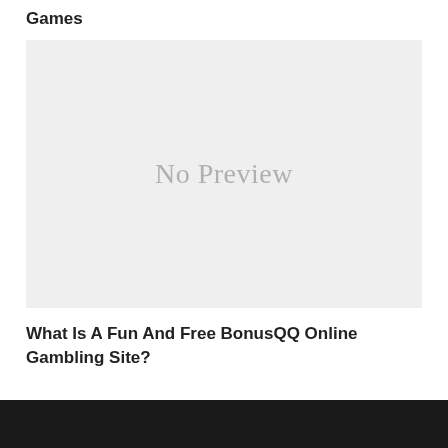Games
[Figure (other): No Preview placeholder image with light grey background]
What Is A Fun And Free BonusQQ Online Gambling Site?